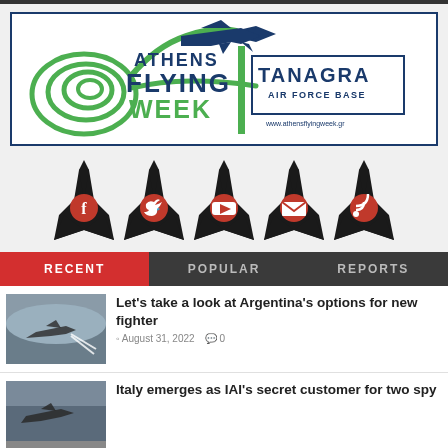[Figure (logo): Athens Flying Week logo with Tanagra Air Force Base text, featuring a spiral swirl graphic and airplane silhouette in green and dark navy blue]
[Figure (illustration): Five fighter jet silhouettes in black with red social media icons inside: Facebook, Twitter, YouTube, Email/envelope, RSS feed]
RECENT | POPULAR | REPORTS
[Figure (photo): Fighter jet flying low, firing rockets or missiles, photo thumbnail]
Let's take a look at Argentina's options for new fighter
August 31, 2022  0
[Figure (photo): Second news article thumbnail showing military aircraft]
Italy emerges as IAI's secret customer for two spy